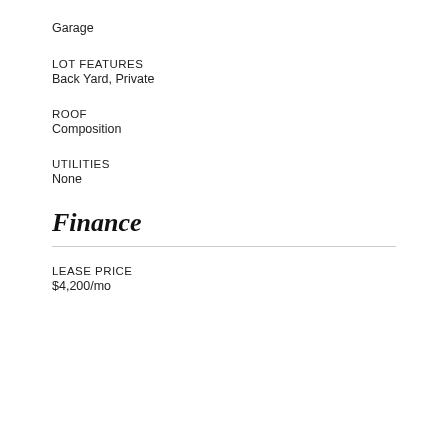Garage
LOT FEATURES
Back Yard, Private
ROOF
Composition
UTILITIES
None
Finance
LEASE PRICE
$4,200/mo